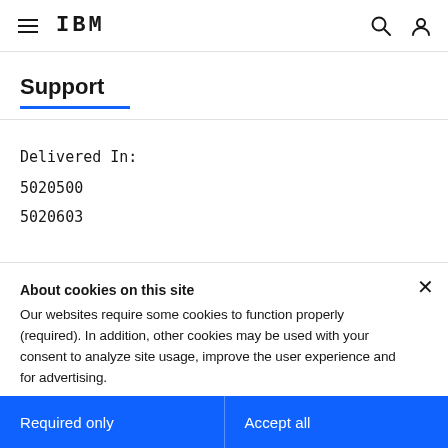IBM Support
Support
Delivered In:
5020500
5020603
About cookies on this site
Our websites require some cookies to function properly (required). In addition, other cookies may be used with your consent to analyze site usage, improve the user experience and for advertising.
For more information, please review your Cookie preferences options and IBM's privacy statement.
Required only
Accept all